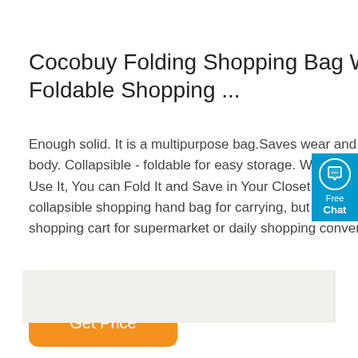Cocobuy Folding Shopping Bag With Wheels Foldable Shopping ...
Enough solid. It is a multipurpose bag.Saves wear and tear on your body. Collapsible - foldable for easy storage. When You Needn't Use It, You can Fold It and Save in Your Closet. 【Usages】A collapsible shopping hand bag for carrying, but also a reusable shopping cart for supermarket or daily shopping conveniently.
[Figure (other): Orange rounded rectangle button labeled 'Get Price']
[Figure (other): Blue chat widget on right edge with speech bubble icon, 'Free Chat' text]
[Figure (other): Light gray horizontal bar at bottom of page]